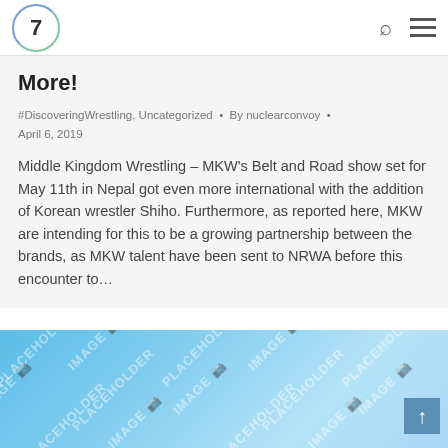7 [logo with search and menu icons]
More!
#DiscoveringWrestling, Uncategorized · By nuclearconvoy · April 6, 2019
Middle Kingdom Wrestling – MKW's Belt and Road show set for May 11th in Nepal got even more international with the addition of Korean wrestler Shiho. Furthermore, as reported here, MKW are intending for this to be a growing partnership between the brands, as MKW talent have been sent to NRWA before this encounter to…
[Figure (photo): Image placeholder with watermark pattern on blue gradient background]